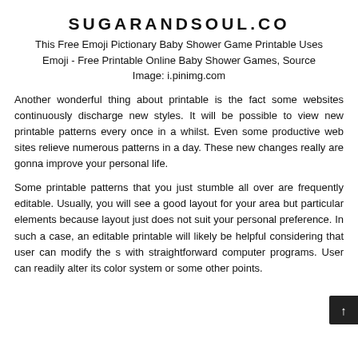SUGARANDSOUL.CO
This Free Emoji Pictionary Baby Shower Game Printable Uses Emoji - Free Printable Online Baby Shower Games, Source Image: i.pinimg.com
Another wonderful thing about printable is the fact some websites continuously discharge new styles. It will be possible to view new printable patterns every once in a whilst. Even some productive web sites relieve numerous patterns in a day. These new changes really are gonna improve your personal life.
Some printable patterns that you just stumble all over are frequently editable. Usually, you will see a good layout for your area but particular elements because layout just does not suit your personal preference. In such a case, an editable printable will likely be helpful considering that user can modify the s with straightforward computer programs. User can readily alter its color system or some other points.